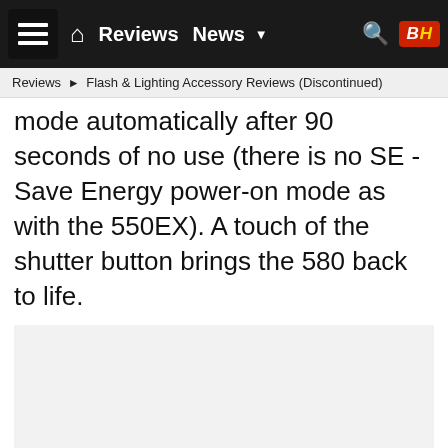Reviews | News | B&H
Reviews ► Flash & Lighting Accessory Reviews (Discontinued)
mode automatically after 90 seconds of no use (there is no SE - Save Energy power-on mode as with the 550EX). A touch of the shutter button brings the 580 back to life.
[Figure (photo): Image placeholder area with navigation dots, content not loaded]